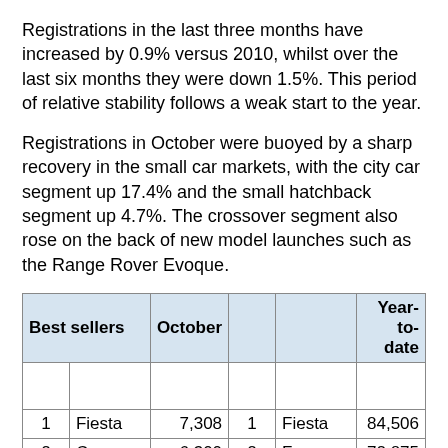Registrations in the last three months have increased by 0.9% versus 2010, whilst over the last six months they were down 1.5%. This period of relative stability follows a weak start to the year.
Registrations in October were buoyed by a sharp recovery in the small car markets, with the city car segment up 17.4% and the small hatchback segment up 4.7%. The crossover segment also rose on the back of new model launches such as the Range Rover Evoque.
| Best sellers | October |  |  | Year-to-date |
| --- | --- | --- | --- | --- |
|  |  |  |  |  |  |
| 1 | Fiesta | 7,308 | 1 | Fiesta | 84,506 |
| 2 | Corsa | 6,300 | 2 | Focus | 72,875 |